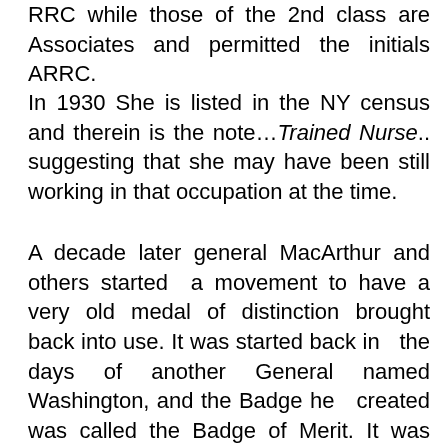RRC while those of the 2nd class are Associates and permitted the initials ARRC.
In 1930 She is listed in the NY census and therein is the note…Trained Nurse.. suggesting that she may have been still working in that occupation at the time.
A decade later general MacArthur and others started a movement to have a very old medal of distinction brought back into use. It was started back in the days of another General named Washington, and the Badge he created was called the Badge of Merit. It was introduced for bravery and called a Badge of Merit. Three were known to be awarded, though a handful of other documents suggest, that at least in writing, some others were awarded in those early days, including at least one to a Canadian.(Search for